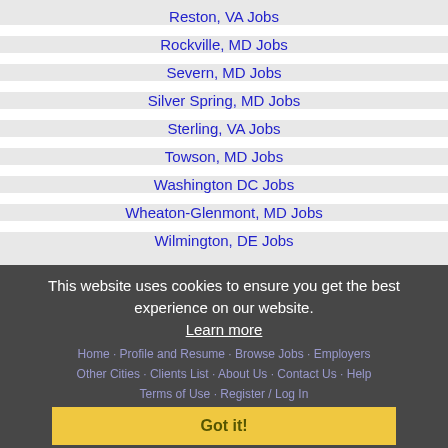Reston, VA Jobs
Rockville, MD Jobs
Severn, MD Jobs
Silver Spring, MD Jobs
Sterling, VA Jobs
Towson, MD Jobs
Washington DC Jobs
Wheaton-Glenmont, MD Jobs
Wilmington, DE Jobs
This website uses cookies to ensure you get the best experience on our website.
Learn more
Got it!
Home · Profile and Resume · Browse Jobs · Employers · Other Cities · Clients List · About Us · Contact Us · Help · Terms of Use · Register / Log In
Copyright © 2001 - 2022 Recruiter Media Corporation - Bethesda Jobs